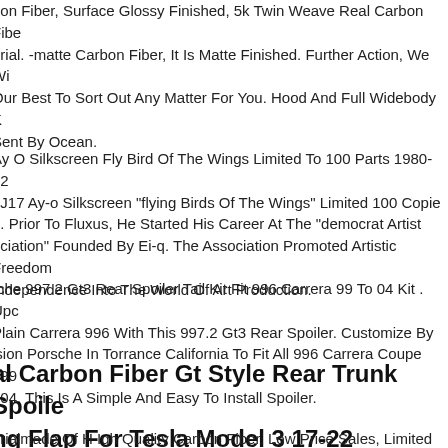bon Fiber, Surface Glossy Finished, 5k Twin Weave Real Carbon Fiber. erial. -matte Carbon Fiber, It Is Matte Finished. Further Action, We Will Our Best To Sort Out Any Matter For You. Hood And Full Widebody K Sent By Ocean.
Ay O Silkscreen Fly Bird Of The Wings Limited To 100 Parts 1980-12 . J17 Ay-o Silkscreen "flying Birds Of The Wings" Limited 100 Copie 9. Prior To Fluxus, He Started His Career At The "democrat Artist ociation" Founded By Ei-q. The Association Promoted Artistic Freedom Independence Into The World Of Art Production.
rche 997.2 Gt3 Rear Spoiler Tail Kit Fit 996 Carrera 99 To 04 Kit . Upc Plain Carrera 996 With This 997.2 Gt3 Rear Spoiler. Customize By ision Porsche In Torrance California To Fit All 996 Carrera Coupe 199 004. This Is A Simple And Easy To Install Spoiler.
al Carbon Fiber Gt Style Rear Trunk Spoiler ng Flap For Tesla Model 3 17-22
erialmade Of H Igh Quality Carbon Fiber. Low Price Sales, Limited